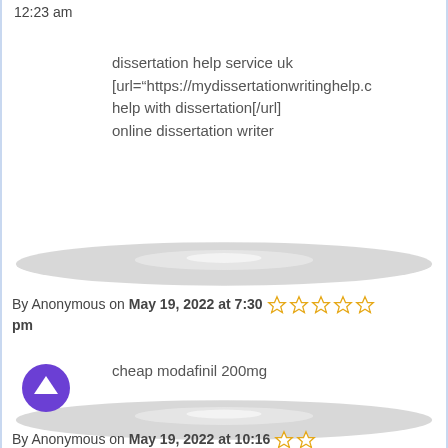12:23 am
dissertation help service uk [url="https://mydissertationwritinghelp.c help with dissertation[/url] online dissertation writer
[Figure (other): Avatar/divider ellipse shape (grayscale)]
By Anonymous on May 19, 2022 at 7:30 pm [star rating: 1 out of 5]
cheap modafinil 200mg
[Figure (other): Avatar/divider ellipse shape (grayscale)]
By Anonymous on May 19, 2022 at 10:16 [star rating shown]